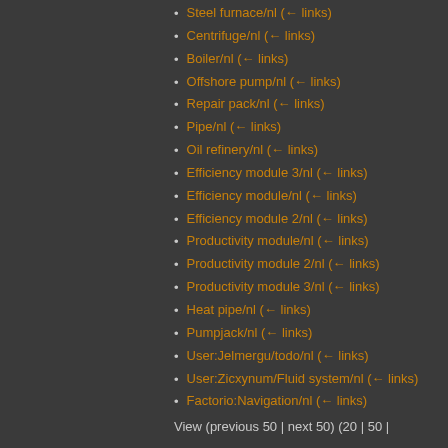Steel furnace/nl (← links)
Centrifuge/nl (← links)
Boiler/nl (← links)
Offshore pump/nl (← links)
Repair pack/nl (← links)
Pipe/nl (← links)
Oil refinery/nl (← links)
Efficiency module 3/nl (← links)
Efficiency module/nl (← links)
Efficiency module 2/nl (← links)
Productivity module/nl (← links)
Productivity module 2/nl (← links)
Productivity module 3/nl (← links)
Heat pipe/nl (← links)
Pumpjack/nl (← links)
User:Jelmergu/todo/nl (← links)
User:Zicxynum/Fluid system/nl (← links)
Factorio:Navigation/nl (← links)
View (previous 50 | next 50) (20 | 50 |